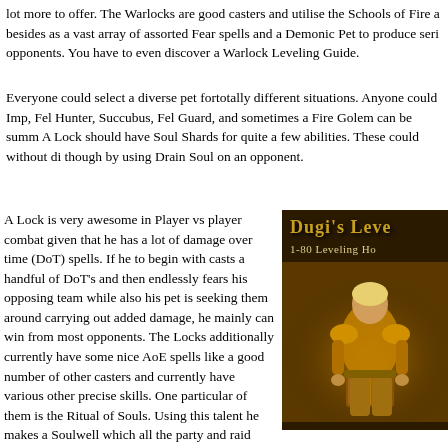lot more to offer. The Warlocks are good casters and utilise the Schools of Fire a besides as a vast array of assorted Fear spells and a Demonic Pet to produce seri opponents. You have to even discover a Warlock Leveling Guide.
Everyone could select a diverse pet fortotally different situations. Anyone could Imp, Fel Hunter, Succubus, Fel Guard, and sometimes a Fire Golem can be summ A Lock should have Soul Shards for quite a few abilities. These could without di though by using Drain Soul on an opponent.
A Lock is very awesome in Player vs player combat given that he has a lot of damage over time (DoT) spells. If he to begin with casts a handful of DoT's and then endlessly fears his opposing team while also his pet is seeking them around carrying out added damage, he mainly can win from most opponents. The Locks additionally currently have some nice AoE spells like a good number of other casters and currently have various other precise skills. One particular of them is the Ritual of Souls. Using this talent he makes a Soulwell which all the party and raid members can take advantage of to get a Healthstone, that instantly regenerates health when utilized. Warlocks can additionally produce a Soulstone on their selves or on different people. At the time the player drops dead he would certainly be able to rez. Last but not least is their power to summon other gamers which will convenient from time to time.
[Figure (illustration): Dugi's Leveling guide advertisement showing a warrior character in golden armor with text '1-80 Leveling Ho' visible]